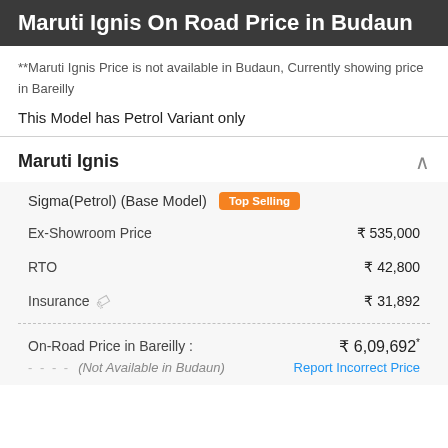Maruti Ignis On Road Price in Budaun
**Maruti Ignis Price is not available in Budaun, Currently showing price in Bareilly
This Model has Petrol Variant only
Maruti Ignis
|  | Price |
| --- | --- |
| Sigma(Petrol) (Base Model) | Top Selling |
| Ex-Showroom Price | ₹ 535,000 |
| RTO | ₹ 42,800 |
| Insurance | ₹ 31,892 |
| On-Road Price in Bareilly : | ₹ 6,09,692* |
| (Not Available in Budaun) | Report Incorrect Price |